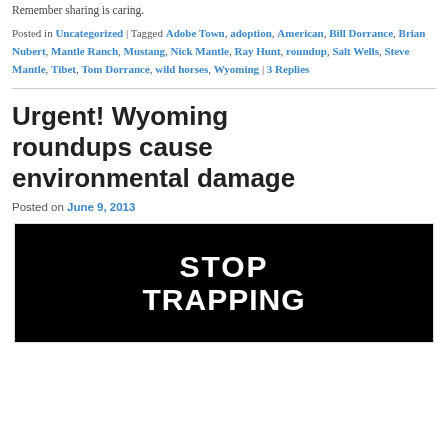Remember sharing is caring.
Posted in Uncategorized | Tagged Adobe Town, adoption, American, Bill Dorrance, Brian Nubert, Mantle Ranch, Mustang, Nick Mantle, Ray Hunt, roundup, Salt Wells, Steve Mantle, Tibet, Tom Dorrance, wild horses, Wyoming | 3 Replies
Urgent! Wyoming roundups cause environmental damage
Posted on June 9, 2013
[Figure (photo): Black background image with white bold text reading 'STOP TRAPPING']